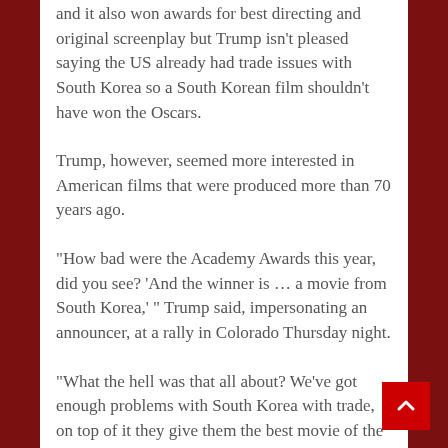and it also won awards for best directing and original screenplay but Trump isn't pleased saying the US already had trade issues with South Korea so a South Korean film shouldn't have won the Oscars.
Trump, however, seemed more interested in American films that were produced more than 70 years ago.
"How bad were the Academy Awards this year, did you see? 'And the winner is … a movie from South Korea,' " Trump said, impersonating an announcer, at a rally in Colorado Thursday night.
"What the hell was that all about? We've got enough problems with South Korea with trade, on top of it they give them the best movie of the year?" he asked.